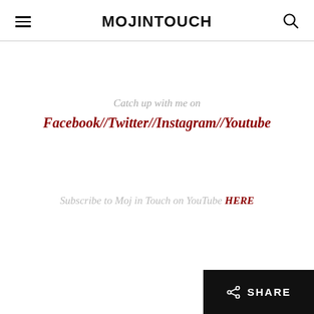MOJINTOUCH
Catch up with me on Facebook//Twitter//Instagram//Youtube
Subscribe to Moj in Touch on YouTube HERE
SHARE